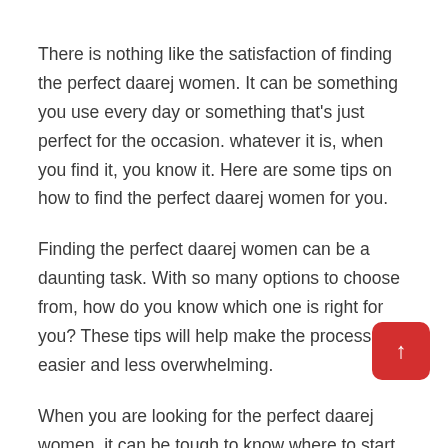There is nothing like the satisfaction of finding the perfect daarej women. It can be something you use every day or something that's just perfect for the occasion. whatever it is, when you find it, you know it. Here are some tips on how to find the perfect daarej women for you.
Finding the perfect daarej women can be a daunting task. With so many options to choose from, how do you know which one is right for you? These tips will help make the process easier and less overwhelming.
When you are looking for the perfect daarej women, it can be tough to know where to start. With all of different daarej womens on the market, how do you know which one is right for you? Here are some tips on